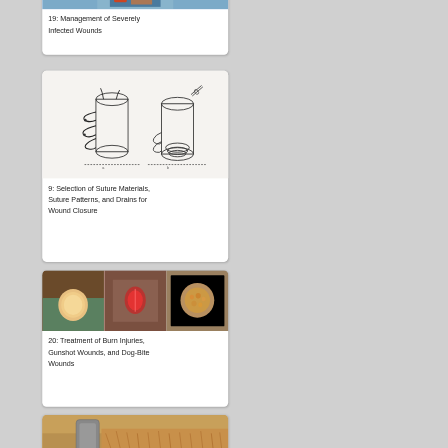[Figure (photo): Partial view of chapter 19 card showing a medical wound image at top, clipped]
19: Management of Severely Infected Wounds
[Figure (illustration): Line drawing illustrations showing suture patterns and drain placement on cylindrical objects]
9: Selection of Suture Materials, Suture Patterns, and Drains for Wound Closure
[Figure (photo): Three clinical photographs showing burn injuries and wound conditions on animals]
20: Treatment of Burn Injuries, Gunshot Wounds, and Dog-Bite Wounds
[Figure (photo): Partial view of a chapter card showing a laser or therapy device being applied to an animal, clipped at bottom]